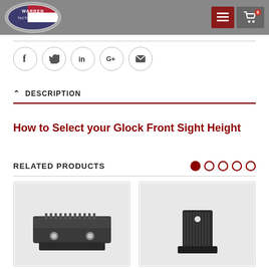Warren Tactical Series
Social share icons: Facebook, Twitter, LinkedIn, Google+, Email
DESCRIPTION
How to Select your Glock Front Sight Height
RELATED PRODUCTS
[Figure (photo): Related product photo 1: Glock rear sight, dark metal block with two dots]
[Figure (photo): Related product photo 2: Small black tactical sight accessory]